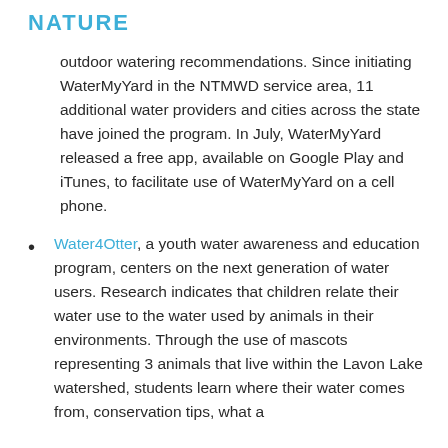NATURE
outdoor watering recommendations. Since initiating WaterMyYard in the NTMWD service area, 11 additional water providers and cities across the state have joined the program. In July, WaterMyYard released a free app, available on Google Play and iTunes, to facilitate use of WaterMyYard on a cell phone.
Water4Otter, a youth water awareness and education program, centers on the next generation of water users. Research indicates that children relate their water use to the water used by animals in their environments. Through the use of mascots representing 3 animals that live within the Lavon Lake watershed, students learn where their water comes from, conservation tips, what a